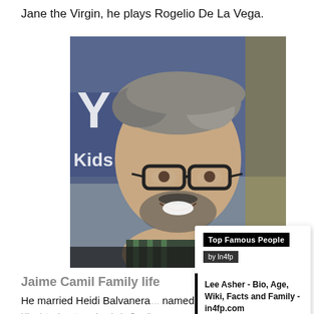Jane the Virgin, he plays Rogelio De La Vega.
[Figure (photo): Photo of Jaime Camil smiling, wearing glasses and a striped shirt, in front of a Kids background.]
Top Famous People
by In4fp
READ MORE
Jaime Camil Family life
He married Heidi Balvanera and has two children named Elena and Jaime III. His sister is actress Issabela Camil.
Lee Asher - Bio, Age, Wiki, Facts and Family - in4fp.com